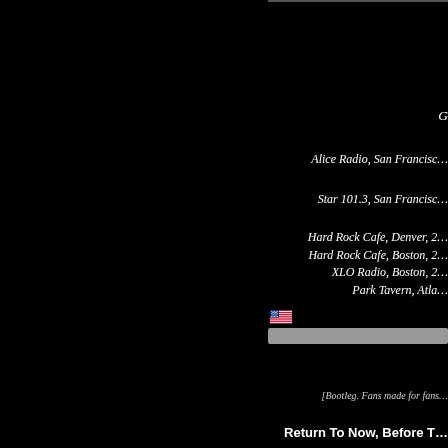G
Alice Radio, San Francisc…
Star 101.3, San Francisc…
Hard Rock Cafe, Denver, 2…
Hard Rock Cafe, Boston, 2…
XLO Radio, Boston, 2…
Park Tavern, Atla…
[Figure (illustration): US flag icon]
[Bootleg. Fans made for fans…
Return To Now, Before T…